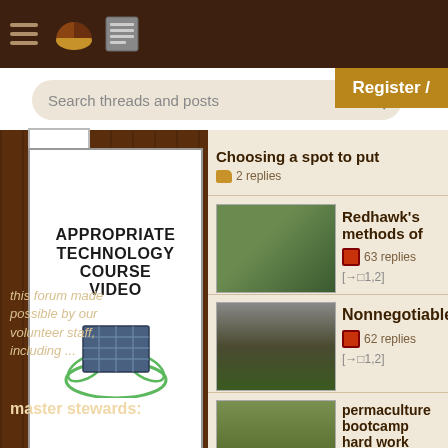Navigation bar with hamburger menu, pie logo, and list icon
Register /
Search threads and posts
[Figure (illustration): Appropriate Technology Course Video advertisement with solar panel graphic and 'Watch It Here!' green button]
this forum made possible by our volunteer staff, including ...
master stewards:
Choosing a spot to put
2 replies
Redhawk's methods of
63 replies [→□1,2]
Nonnegotiables
62 replies [→□1,2]
permaculture bootcamp hard work
[→□1,2,3<... <17,18,19]